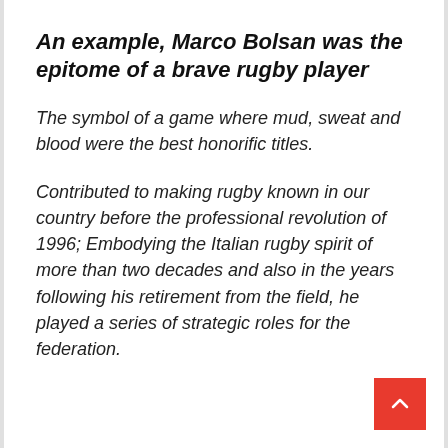An example, Marco Bolsan was the epitome of a brave rugby player
The symbol of a game where mud, sweat and blood were the best honorific titles.
Contributed to making rugby known in our country before the professional revolution of 1996; Embodying the Italian rugby spirit of more than two decades and also in the years following his retirement from the field, he played a series of strategic roles for the federation.